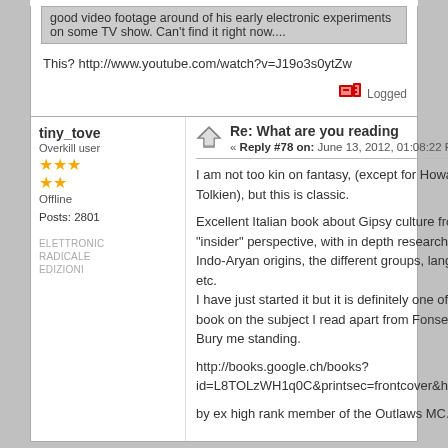good video footage around of his early electronic experiments on some TV show. Can't find it right now....
This? http://www.youtube.com/watch?v=J19o3s0ytZw
Logged
tiny_tove
Overkill user
Offline
Posts: 2801
ELETTRONIC RADICALE EDIZIONI
Re: What are you reading
« Reply #78 on: June 13, 2012, 01:08:22 PM »
I am not too kin on fantasy, (except for Howard and Tolkien), but this is classic.
Excellent Italian book about Gipsy culture from "insider" perspective, with in depth research on the Indo-Aryan origins, the different groups, language, etc.
I have just started it but it is definitely one of the best book on the subject I read apart from Fonseca's Bury me standing.
http://books.google.ch/books?id=L8TOLzWH1q0C&printsec=frontcover&hl=it&sour
by ex high rank member of the Outlaws MC.